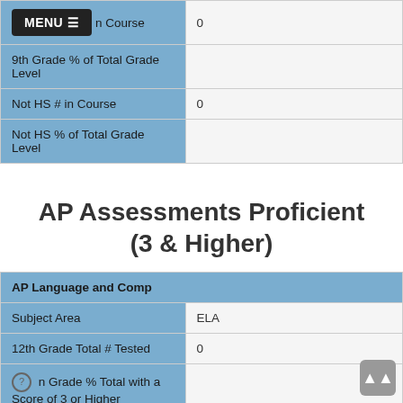| Row Label | Value |
| --- | --- |
| [MENU] n Course | 0 |
| 9th Grade % of Total Grade Level |  |
| Not HS # in Course | 0 |
| Not HS % of Total Grade Level |  |
AP Assessments Proficient (3 & Higher)
| Row Label | Value |
| --- | --- |
| AP Language and Comp |  |
| Subject Area | ELA |
| 12th Grade Total # Tested | 0 |
| [?] n Grade % Total with a Score of 3 or Higher |  |